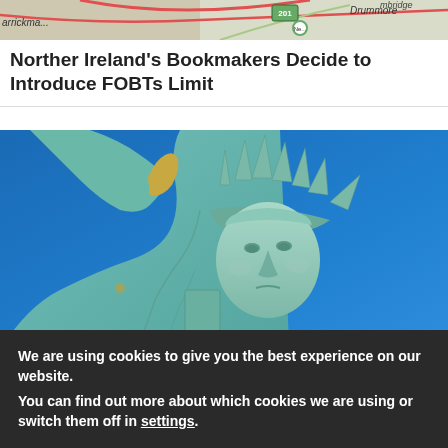[Figure (map): Partial road map background showing place names including Carrickmacross area and Drummore, with a green road number box and circle marker.]
Norther Ireland's Bookmakers Decide to Introduce FOBTs Limit
[Figure (photo): Photograph of the Statue of Liberty upper body and torch, shot from below against a bright blue sky. The statue is green/teal in color.]
We are using cookies to give you the best experience on our website.
You can find out more about which cookies we are using or switch them off in settings.
Accept